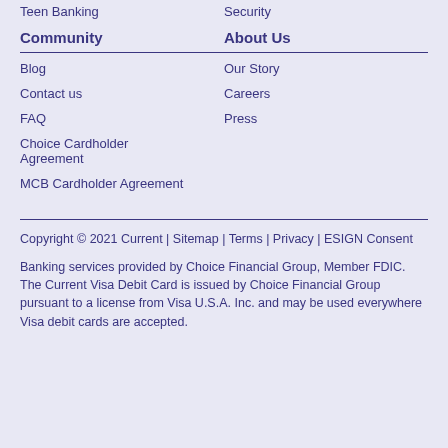Teen Banking
Security
Community
About Us
Blog
Our Story
Contact us
Careers
FAQ
Press
Choice Cardholder Agreement
MCB Cardholder Agreement
Copyright © 2021 Current | Sitemap | Terms | Privacy | ESIGN Consent
Banking services provided by Choice Financial Group, Member FDIC. The Current Visa Debit Card is issued by Choice Financial Group pursuant to a license from Visa U.S.A. Inc. and may be used everywhere Visa debit cards are accepted.